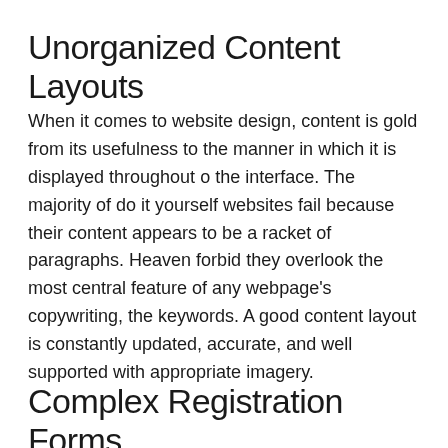Unorganized Content Layouts
When it comes to website design, content is gold from its usefulness to the manner in which it is displayed throughout o the interface. The majority of do it yourself websites fail because their content appears to be a racket of paragraphs. Heaven forbid they overlook the most central feature of any webpage’s copywriting, the keywords. A good content layout is constantly updated, accurate, and well supported with appropriate imagery.
Complex Registration Forms